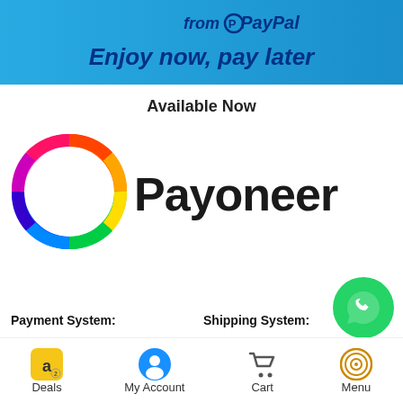[Figure (screenshot): PayPal banner with text 'from PayPal' and 'Enjoy now, pay later' on blue gradient background]
Available Now
[Figure (logo): Payoneer logo with rainbow circular icon and 'Payoneer' text in black]
[Figure (logo): WhatsApp floating button (green circle with phone icon)]
Payment System:
Shipping System:
[Figure (infographic): Colored stripe bar showing payment and shipping provider logos]
Deals  My Account  Cart  Menu